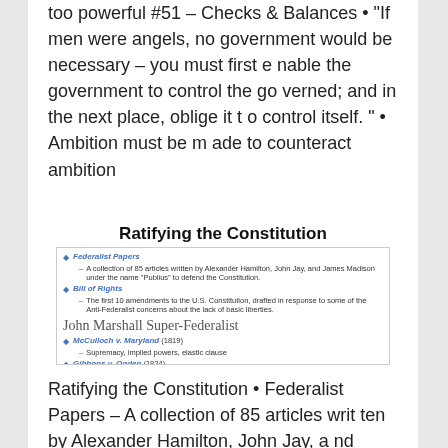too powerful #51 – Checks & Balances • "If men were angels, no government would be necessary – you must first enable the government to control the governed; and in the next place, oblige it to control itself. " • Ambition must be made to counteract ambition
Ratifying the Constitution
[Figure (screenshot): Slide thumbnail showing bullet points about Federalist Papers and Bill of Rights, plus a section titled 'John Marshall Super-Federalist' with McCulloch v. Maryland (1819) and Gibbons v. Ogden (1824) cases.]
Ratifying the Constitution • Federalist Papers – A collection of 85 articles written by Alexander Hamilton, John Jay, and James Madison under the name "P